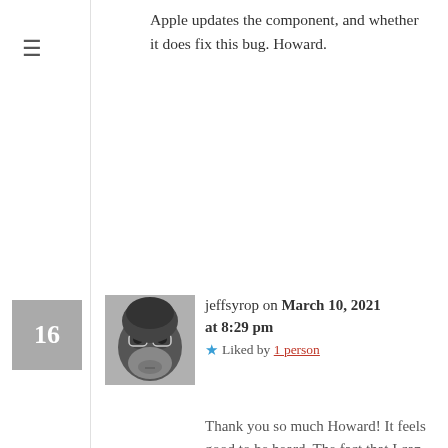Apple updates the component, and whether it does fix this bug. Howard.
jeffsyrop on March 10, 2021 at 8:29 pm  ★ Liked by 1 person
Thank you so much Howard! It feels good to be heard. The fact that I can instantly and forever find the same test file in a Spotlight search when saved to RTFD makes me think that this whole problem could be as simple as a typo in some Apple code.

I've submitted formal and informal bug reports to Apple. It is way beyond my ability to go